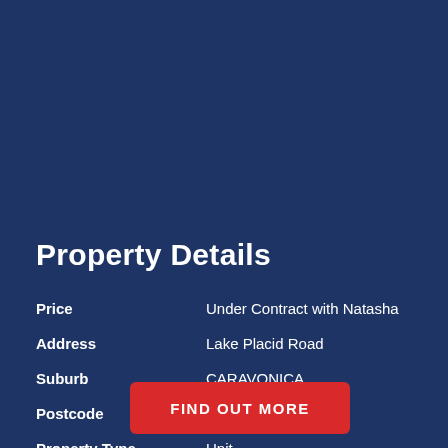Property Details
| Field | Value |
| --- | --- |
| Price | Under Contract with Natasha |
| Address | Lake Placid Road |
| Suburb | CARAVONICA |
| Postcode |  |
| Property Type | Unit |
FIND OUT MORE